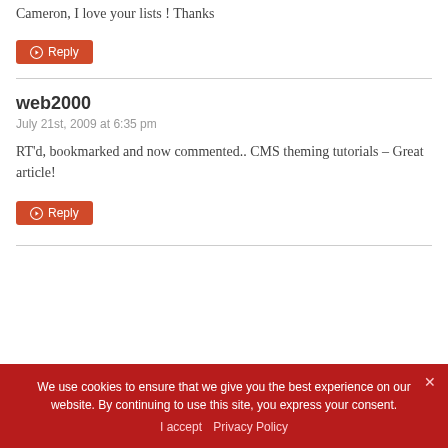Cameron, I love your lists ! Thanks
Reply
web2000
July 21st, 2009 at 6:35 pm
RT'd, bookmarked and now commented.. CMS theming tutorials – Great article!
Reply
We use cookies to ensure that we give you the best experience on our website. By continuing to use this site, you express your consent.
I accept   Privacy Policy